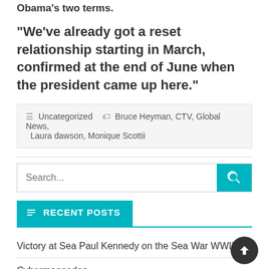Obama's two terms.
“We’ve already got a reset relationship starting in March, confirmed at the end of June when the president came up here.”
Uncategorized  Bruce Heyman, CTV, Global News, Laura dawson, Monique Scottii
Search...
RECENT POSTS
Victory at Sea Paul Kennedy on the Sea War WWII
Cybermaggedon